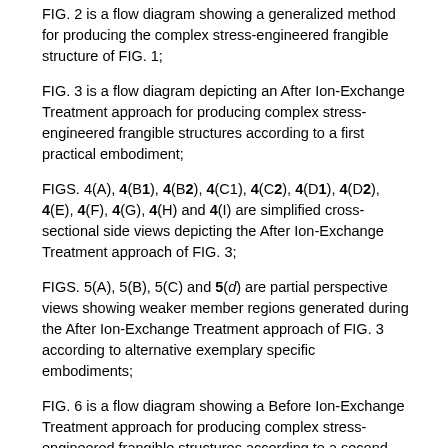FIG. 2 is a flow diagram showing a generalized method for producing the complex stress-engineered frangible structure of FIG. 1;
FIG. 3 is a flow diagram depicting an After Ion-Exchange Treatment approach for producing complex stress-engineered frangible structures according to a first practical embodiment;
FIGS. 4(A), 4(B1), 4(B2), 4(C1), 4(C2), 4(D1), 4(D2), 4(E), 4(F), 4(G), 4(H) and 4(I) are simplified cross-sectional side views depicting the After Ion-Exchange Treatment approach of FIG. 3;
FIGS. 5(A), 5(B), 5(C) and 5(d) are partial perspective views showing weaker member regions generated during the After Ion-Exchange Treatment approach of FIG. 3 according to alternative exemplary specific embodiments;
FIG. 6 is a flow diagram showing a Before Ion-Exchange Treatment approach for producing complex stress-engineered frangible structures according to a second practical embodiment;
FIGS. 7(A), 7(B), 7(C), 7(D), 7(E), 7(F), 7(G) and 7(H) are